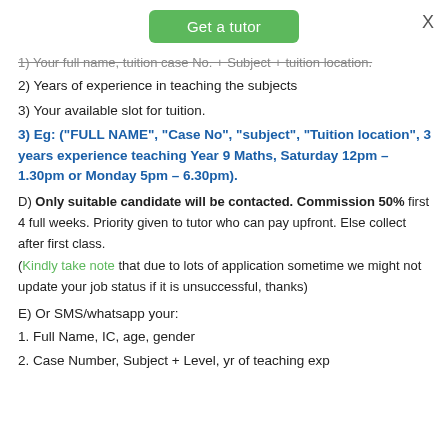[Figure (other): Green 'Get a tutor' button at top center]
X
1) Your full name, tuition case No. + Subject + tuition location.
2) Years of experience in teaching the subjects
3) Your available slot for tuition.
3) Eg: ("FULL NAME", "Case No", "subject", "Tuition location", 3 years experience teaching Year 9 Maths, Saturday 12pm – 1.30pm or Monday 5pm – 6.30pm).
D) Only suitable candidate will be contacted. Commission 50% first 4 full weeks. Priority given to tutor who can pay upfront. Else collect after first class. (Kindly take note that due to lots of application sometime we might not update your job status if it is unsuccessful, thanks)
E) Or SMS/whatsapp your:
1. Full Name, IC, age, gender
2. Case Number, Subject + Level, yr of teaching exp